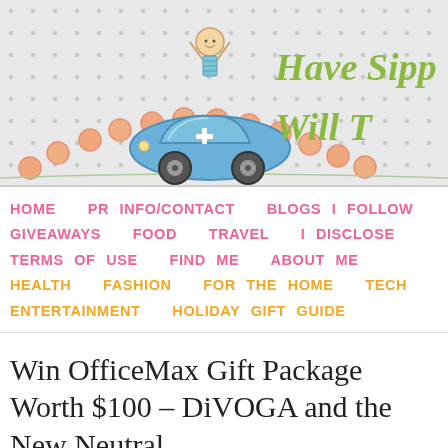[Figure (illustration): Blog header illustration: a cartoon child riding in a blue toy car over an orange bridge/arc made of beads, with polka dot gray background. Partial text 'Have Sipp... Will T...' in green cursive script on the right side.]
HOME  PR INFO/CONTACT  BLOGS I FOLLOW  GIVEAWAYS  FOOD  TRAVEL  I DISCLOSE  TERMS OF USE  FIND ME  ABOUT ME  HEALTH  FASHION  FOR THE HOME  TECH  ENTERTAINMENT  HOLIDAY GIFT GUIDE
Win OfficeMax Gift Package Worth $100 – DiVOGA and the New Neutral